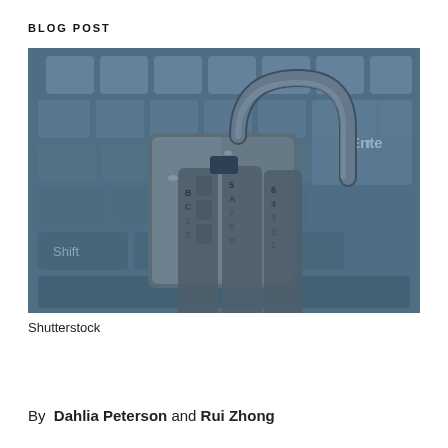BLOG POST
[Figure (photo): A combination padlock with numbered dials resting on a computer keyboard, photographed in blue-tinted monochrome. The shackle is open/unlocked. Keyboard keys including Enter and Shift are visible in the background.]
Shutterstock
By  Dahlia Peterson and Rui Zhong